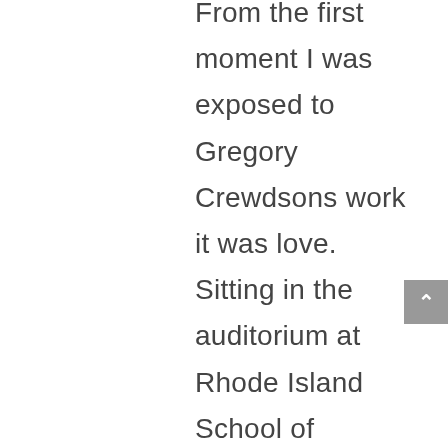From the first moment I was exposed to Gregory Crewdsons work it was love. Sitting in the auditorium at Rhode Island School of Design, midway through my degree, Crewdson in an honest, brilliant speech opened my eyes to another side of photography. He was admirably honest to even the most invasive questioning (“exactly how much money to you make on a photo and exactly how much does it cost to produce one?”) his haunting